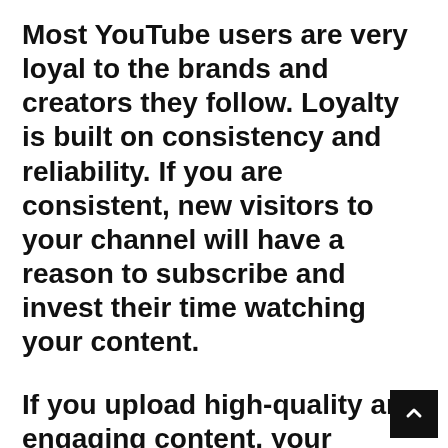Most YouTube users are very loyal to the brands and creators they follow. Loyalty is built on consistency and reliability. If you are consistent, new visitors to your channel will have a reason to subscribe and invest their time watching your content.
If you upload high-quality and engaging content, your subscribers will always anticipate your next video. Conversely, having an irregular schedule will kill their hopes and trust in your brand.